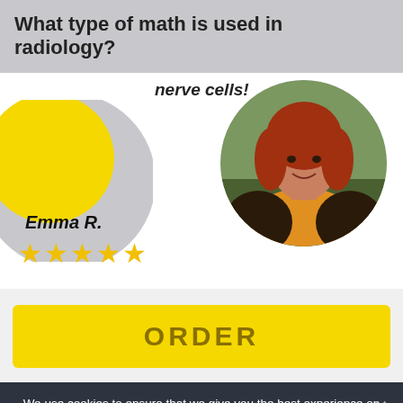What type of math is used in radiology?
nerve cells!
[Figure (illustration): Left side decorative graphic with yellow and grey circular shapes]
[Figure (photo): Profile photo of a woman with red hair wearing a yellow top and dark jacket, in a circular crop]
Emma R.
★★★★★
ORDER
We use cookies to ensure that we give you the best experience on our website. If you continue to use this site we will assume that you are happy with it.
Ok
Privacy policy